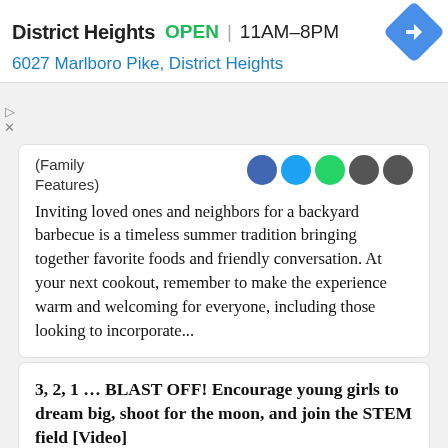District Heights  OPEN  11AM–8PM  6027 Marlboro Pike, District Heights
(Family Features)
Inviting loved ones and neighbors for a backyard barbecue is a timeless summer tradition bringing together favorite foods and friendly conversation. At your next cookout, remember to make the experience warm and welcoming for everyone, including those looking to incorporate...
3, 2, 1 ... BLAST OFF! Encourage young girls to dream big, shoot for the moon, and join the STEM field [Video]